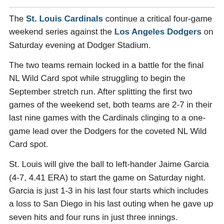The St. Louis Cardinals continue a critical four-game weekend series against the Los Angeles Dodgers on Saturday evening at Dodger Stadium.
The two teams remain locked in a battle for the final NL Wild Card spot while struggling to begin the September stretch run. After splitting the first two games of the weekend set, both teams are 2-7 in their last nine games with the Cardinals clinging to a one-game lead over the Dodgers for the coveted NL Wild Card spot.
St. Louis will give the ball to left-hander Jaime Garcia (4-7, 4.41 ERA) to start the game on Saturday night. Garcia is just 1-3 in his last four starts which includes a loss to San Diego in his last outing when he gave up seven hits and four runs in just three innings.